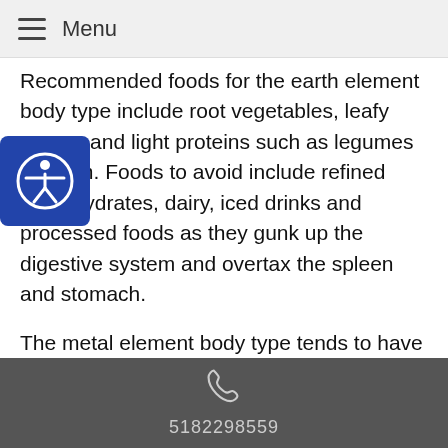Menu
Recommended foods for the earth element body type include root vegetables, leafy greens and light proteins such as legumes and fish. Foods to avoid include refined carbohydrates, dairy, iced drinks and processed foods as they gunk up the digestive system and overtax the spleen and stomach.
The metal element body type tends to have defined facial features and broad, square shoulders. However, their features tend to be thin in nature, such as thin lips and eyelids. The metal element rules the intestinal, respiratory and skin systems, as well as assisting with the immune system. Recommended foods include those that have a dispersing effect and promote energy circulation. Foods sour in nature are best for this body type. No foods which are spicy or chilli-based from your end
5182298559